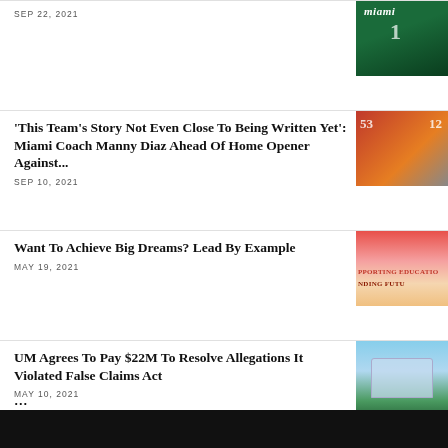SEP 22, 2021
[Figure (photo): Miami football player in green jersey with number 1]
'This Team's Story Not Even Close To Being Written Yet': Miami Coach Manny Diaz Ahead Of Home Opener Against...
[Figure (photo): Miami football coach and players in orange and white uniforms, numbers 53 and 12 visible]
SEP 10, 2021
Want To Achieve Big Dreams? Lead By Example
[Figure (photo): Florida Lottery banner with text 'PPORTING EDUCATION NDING FUTURE']
MAY 19, 2021
UM Agrees To Pay $22M To Resolve Allegations It Violated False Claims Act
[Figure (photo): University of Miami building with palm trees and blue sky]
MAY 10, 2021